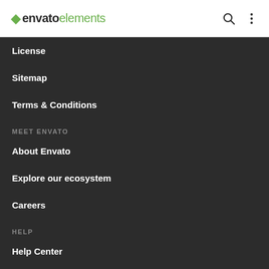envato elements
License
Sitemap
Terms & Conditions
MEET ENVATO
About Envato
Explore our ecosystem
Careers
HELP
Help Center
Become an Affiliate
AUTHOR
Become an Author